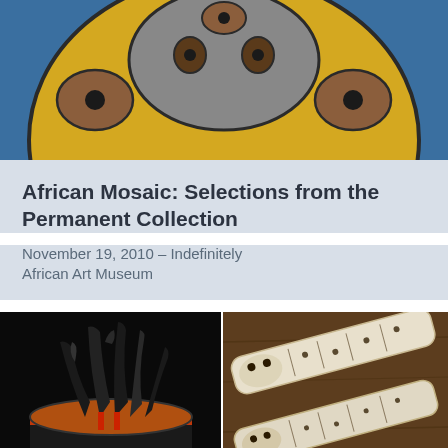[Figure (illustration): Yellow owl-like African mask face on blue background with brown circular eye markings]
African Mosaic: Selections from the Permanent Collection
November 19, 2010 – Indefinitely
African Art Museum
[Figure (photo): Black ceremonial hat with feathers and red accents on black background]
[Figure (photo): Ivory carved decorative pieces with animal head motifs on wooden surface]